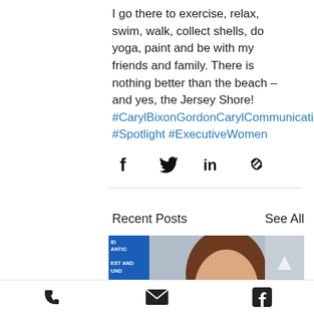I go there to exercise, relax, swim, walk, collect shells, do yoga, paint and be with my friends and family. There is nothing better than the beach – and yes, the Jersey Shore! #CarylBixonGordonCarylCommunicationsInc #Spotlight #ExecutiveWomen
[Figure (screenshot): Social share icons: Facebook, Twitter, LinkedIn, Link]
Recent Posts
See All
[Figure (photo): Thumbnail images of recent blog posts including a blue branded image and a photo of a smiling woman with brown hair]
[Figure (screenshot): Website footer with phone, email, and Facebook icons]